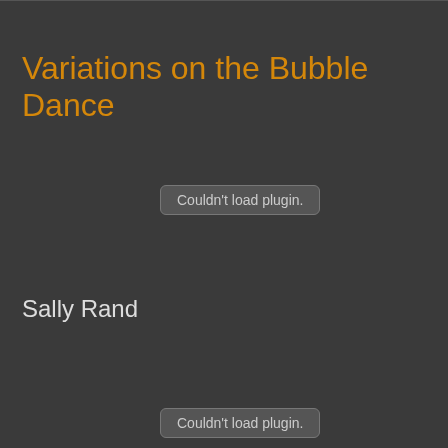Variations on the Bubble Dance
[Figure (other): Embedded plugin placeholder box reading 'Couldn't load plugin.']
Sally Rand
[Figure (other): Embedded plugin placeholder box reading 'Couldn't load plugin.']